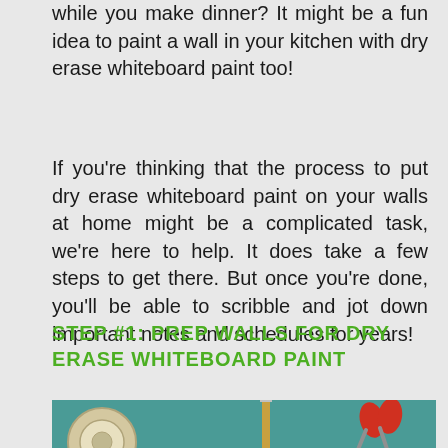while you make dinner? It might be a fun idea to paint a wall in your kitchen with dry erase whiteboard paint too!
If you're thinking that the process to put dry erase whiteboard paint on your walls at home might be a complicated task, we're here to help. It does take a few steps to get there. But once you're done, you'll be able to scribble and jot down important notes and schedules for years!
STEP #1: PREP WALLS FOR DRY ERASE WHITEBOARD PAINT
[Figure (photo): Photo showing crafting supplies including a roll of tape, a pencil, and red scissors on a teal/green surface]